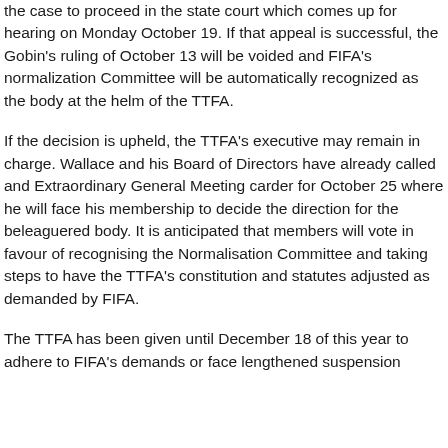the case to proceed in the state court which comes up for hearing on Monday October 19. If that appeal is successful, the Gobin's ruling of October 13 will be voided and FIFA's normalization Committee will be automatically recognized as the body at the helm of the TTFA.
If the decision is upheld, the TTFA's executive may remain in charge. Wallace and his Board of Directors have already called and Extraordinary General Meeting carder for October 25 where he will face his membership to decide the direction for the beleaguered body. It is anticipated that members will vote in favour of recognising the Normalisation Committee and taking steps to have the TTFA's constitution and statutes adjusted as demanded by FIFA.
The TTFA has been given until December 18 of this year to adhere to FIFA's demands or face lengthened suspension